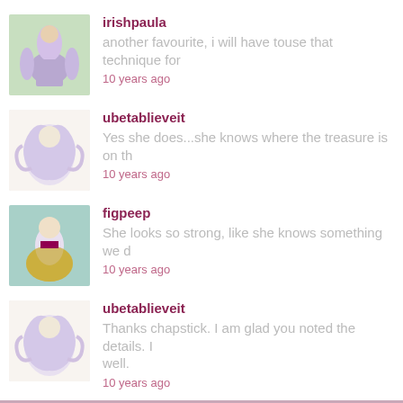irishpaula
another favourite, i will have touse that technique for
10 years ago
ubetablieveit
Yes she does...she knows where the treasure is on th
10 years ago
figpeep
She looks so strong, like she knows something we d
10 years ago
ubetablieveit
Thanks chapstick. I am glad you noted the details. I well.
10 years ago
Popular Dress Up Game Tags: